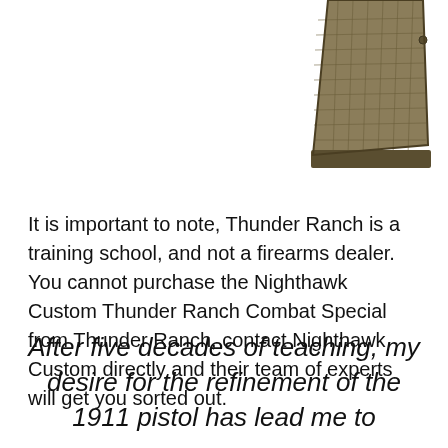[Figure (photo): Close-up photograph of a firearm grip panel, textured checkered pattern, dark bronze/tan metallic color, showing the lower portion of a pistol grip in the upper right corner of the page.]
It is important to note, Thunder Ranch is a training school, and not a firearms dealer. You cannot purchase the Nighthawk Custom Thunder Ranch Combat Special from Thunder Ranch, contact Nighthawk Custom directly and their team of experts will get you sorted out.
After five decades of teaching, my desire for the refinement of the 1911 pistol has lead me to